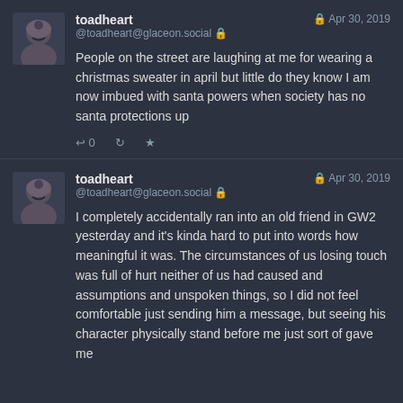[Figure (screenshot): Social media post screenshot showing two posts from user toadheart on glaceon.social]
toadheart @toadheart@glaceon.social Apr 30, 2019 People on the street are laughing at me for wearing a christmas sweater in april but little do they know I am now imbued with santa powers when society has no santa protections up
toadheart @toadheart@glaceon.social Apr 30, 2019 I completely accidentally ran into an old friend in GW2 yesterday and it's kinda hard to put into words how meaningful it was. The circumstances of us losing touch was full of hurt neither of us had caused and assumptions and unspoken things, so I did not feel comfortable just sending him a message, but seeing his character physically stand before me just sort of gave me